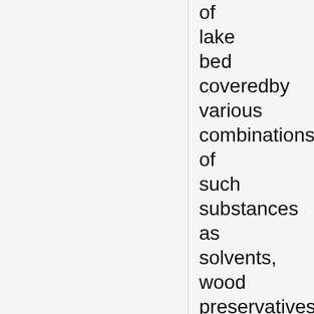of lake bed coveredby various combinations of such substances as solvents, wood preservatives, coal tar,